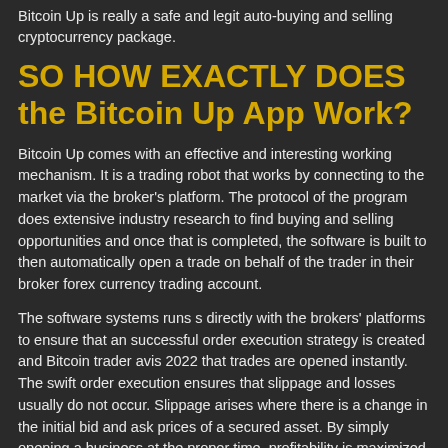Bitcoin Up is really a safe and legit auto-buying and selling cryptocurrency package.
SO HOW EXACTLY DOES the Bitcoin Up App Work?
Bitcoin Up comes with an effective and interesting working mechanism. It is a trading robot that works by connecting to the market via the broker's platform. The protocol of the program does extensive industry research to find buying and selling opportunities and once that is completed, the software is built to then automatically open a trade on behalf of the trader in their broker forex currency trading account.
The software systems runs s directly with the brokers' platforms to ensure that an successful order execution strategy is created and Bitcoin trader avis 2022 that trades are opened instantly. The swift order execution ensures that slippage and losses usually do not occur. Slippage arises where there is a change in the initial bid and ask prices of a secured asset. By simply opening a business at the proper time, profitability is maximized